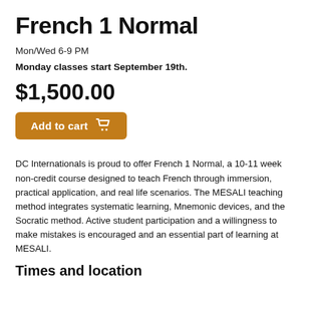French 1 Normal
Mon/Wed 6-9 PM
Monday classes start September 19th.
$1,500.00
Add to cart
DC Internationals is proud to offer French 1 Normal, a 10-11 week non-credit course designed to teach French through immersion, practical application, and real life scenarios. The MESALI teaching method integrates systematic learning, Mnemonic devices, and the Socratic method. Active student participation and a willingness to make mistakes is encouraged and an essential part of learning at MESALI.
Times and location